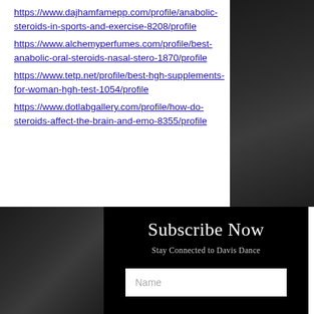https://www.dajhamfamepp.com/profile/anabolic-steroids-in-sports-and-exercise-8208/profile
https://www.alchemyperfumes.com/profile/best-anabolic-oral-steroids-nasal-stero-1870/profile
https://www.tetp.net/profile/best-hgh-supplements-for-woman-hgh-test-1054/profile
https://www.dotlabgallery.com/profile/how-do-steroids-affect-the-brain-and-emo-8355/profile
Subscribe Now
Stay Connected to Davis Dance
Name